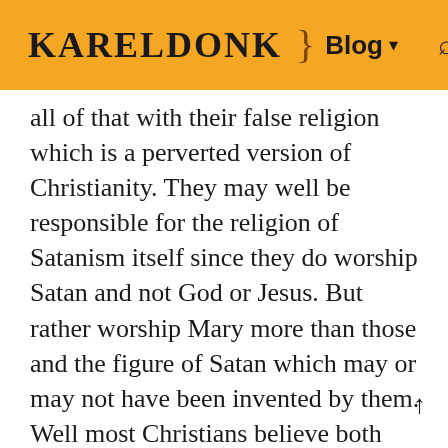KARELDONK } Blog ▾ 🔍 ≡
all of that with their false religion which is a perverted version of Christianity. They may well be responsible for the religion of Satanism itself since they do worship Satan and not God or Jesus. But rather worship Mary more than those and the figure of Satan which may or may not have been invented by them. Well most Christians believe both white and black magic is bad and evil of Lucifer or Satan. Since Christians have it wrong or flawed as well they also believe Lucifer had the power to rebel by not serving humans, but in Islam this was impossible because he cannot be an angel